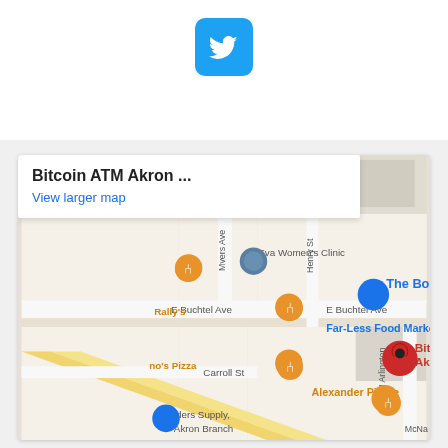[Figure (logo): Twitter bird logo icon, white bird on blue rounded square background]
[Figure (map): Google Maps screenshot showing Bitcoin ATM Akron - Coinhub location near E Buchtel Ave and Carroll St in Akron, Ohio. Map shows nearby landmarks: Eva Women's Clinic, Rally's, Far-Less Food Market, Alexander Pierce, Builders Supply Akron Branch, The Bo (store). Streets visible: Mvers Ave, Henry St, N Arlington, Maxine Pl, Carroll St, E Buchtel Ave. A red map pin marks Bitcoin ATM Akron - Coinhub. Map popup shows 'Bitcoin ATM Akron ...' title and 'View larger map' link.]